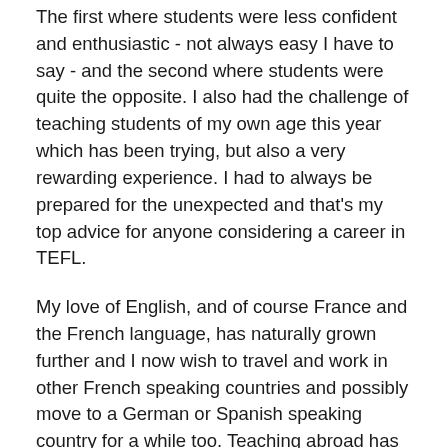The first where students were less confident and enthusiastic - not always easy I have to say - and the second where students were quite the opposite. I also had the challenge of teaching students of my own age this year which has been trying, but also a very rewarding experience. I had to always be prepared for the unexpected and that's my top advice for anyone considering a career in TEFL.
My love of English, and of course France and the French language, has naturally grown further and I now wish to travel and work in other French speaking countries and possibly move to a German or Spanish speaking country for a while too. Teaching abroad has opened up so many doors for me, professionally and personally and it is definitely a part of my life I do not wish to forget in a hurry. There is so much in our world and being open to other ways of life and other workplaces, however